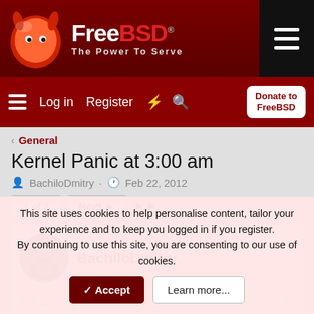[Figure (logo): FreeBSD logo with devil mascot and tagline 'The Power To Serve']
Log in  Register  Donate to FreeBSD
< General
Kernel Panic at 3:00 am
BachiloDmitry · Feb 22, 2012
1 of 2  Next ▶  ▶▶
BachiloDmitry
Feb 22, 2012  #1
This site uses cookies to help personalise content, tailor your experience and to keep you logged in if you register.
By continuing to use this site, you are consenting to our use of cookies.